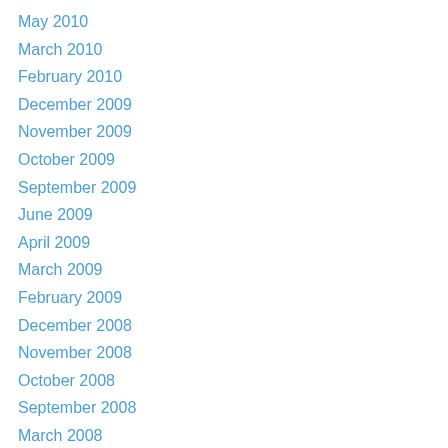May 2010
March 2010
February 2010
December 2009
November 2009
October 2009
September 2009
June 2009
April 2009
March 2009
February 2009
December 2008
November 2008
October 2008
September 2008
March 2008
February 2008
December 2007
November 2007
October 2007